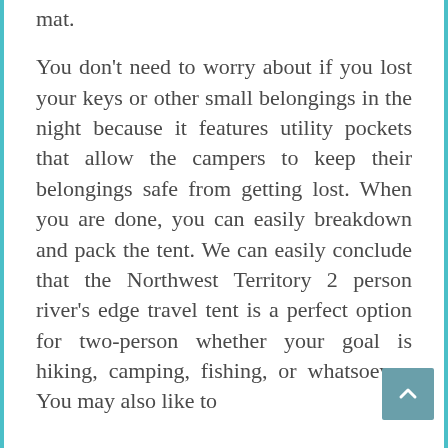mat. You don't need to worry about if you lost your keys or other small belongings in the night because it features utility pockets that allow the campers to keep their belongings safe from getting lost. When you are done, you can easily breakdown and pack the tent. We can easily conclude that the Northwest Territory 2 person river's edge travel tent is a perfect option for two-person whether your goal is hiking, camping, fishing, or whatsoever. You may also like to